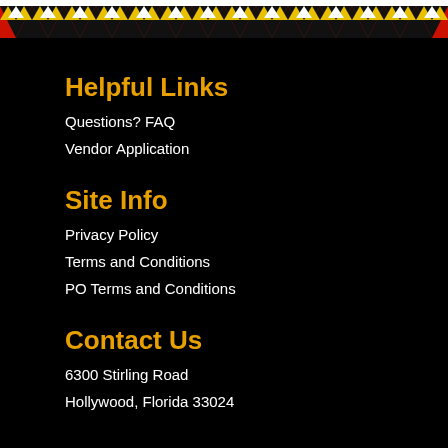[Figure (illustration): Decorative Native American geometric zigzag pattern banner in red, yellow, white, and black at the top of the page]
Helpful Links
Questions? FAQ
Vendor Application
Site Info
Privacy Policy
Terms and Conditions
PO Terms and Conditions
Contact Us
6300 Stirling Road
Hollywood, Florida 33024